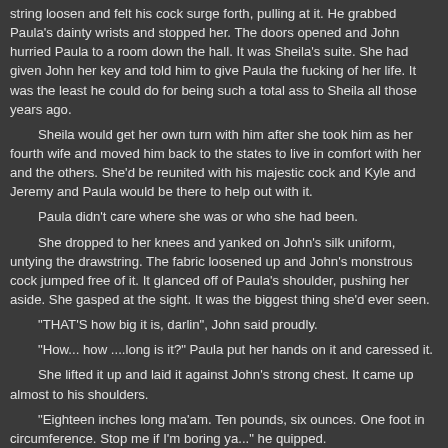string loosen and felt his cock surge forth, pulling at it. He grabbed Paula's dainty wrists and stopped her. The doors opened and John hurried Paula to a room down the hall. It was Sheila's suite. She had given John her key and told him to give Paula the fucking of her life. It was the least he could do for being such a total ass to Sheila all those years ago.
Sheila would get her own turn with him after she took him as her fourth wife and moved him back to the states to live in comfort with her and the others. She'd be reunited with his majestic cock and Kyle and Jeremy and Paula would be there to help out with it.
Paula didn't care where she was or who she had been.
She dropped to her knees and yanked on John's silk uniform, untying the drawstring. The fabric loosened up and John's monstrous cock jumped free of it. It glanced off of Paula's shoulder, pushing her aside. She gasped at the sight. It was the biggest thing she'd ever seen.
"THAT'S how big it is, darlin", John said proudly.
"How... how ....long is it?" Paula put her hands on it and caressed it.
She lifted it up and laid it against John's strong chest. It came up almost to his shoulders.
"Eighteen inches long ma'am. Ten pounds, six ounces. One foot in circumference. Stop me if I'm boring ya..." he quipped.
Paula was mesmerized. She traced her fingernail around the huge tip and smiled when a glob of pre-cum oozed forth. She wanted to have this man's baby. Why did she think that? She wanted him inside her, pumping his seed deep into her womb. Strange thoughts perhaps, but Paula's Voluxilized female body had to fill in the blanks in Paul Morton's blanked out mind these days.